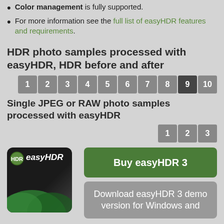Color management is fully supported.
For more information see the full list of easyHDR features and requirements.
HDR photo samples processed with easyHDR, HDR before and after
[Figure (other): Pagination bar with buttons 1 through 10, button 9 is active/highlighted]
Single JPEG or RAW photo samples processed with easyHDR
[Figure (other): Pagination bar with buttons 1 through 3]
[Figure (other): easyHDR product box image]
Buy easyHDR 3
Download easyHDR 3 demo version for Windows and